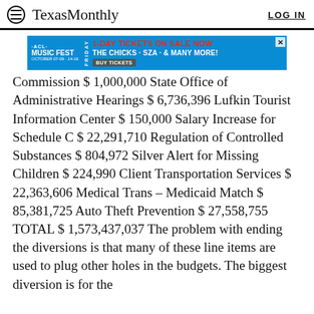TexasMonthly  LOG IN
[Figure (other): ACL Music Fest advertisement banner: 1-DAY TICKETS ON SALE NOW, FRIDAY, THE CHICKS · SZA · & MANY MORE, BUY TICKETS]
Commission $ 1,000,000 State Office of Administrative Hearings $ 6,736,396 Lufkin Tourist Information Center $ 150,000 Salary Increase for Schedule C $ 22,291,710 Regulation of Controlled Substances $ 804,972 Silver Alert for Missing Children $ 224,990 Client Transportation Services $ 22,363,606 Medical Trans – Medicaid Match $ 85,381,725 Auto Theft Prevention $ 27,558,755 TOTAL $ 1,573,437,037 The problem with ending the diversions is that many of these line items are used to plug other holes in the budgets. The biggest diversion is for the